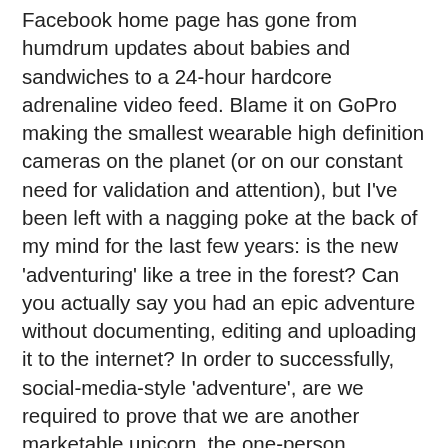Facebook home page has gone from humdrum updates about babies and sandwiches to a 24-hour hardcore adrenaline video feed. Blame it on GoPro making the smallest wearable high definition cameras on the planet (or on our constant need for validation and attention), but I've been left with a nagging poke at the back of my mind for the last few years: is the new 'adventuring' like a tree in the forest? Can you actually say you had an epic adventure without documenting, editing and uploading it to the internet? In order to successfully, social-media-style 'adventure', are we required to prove that we are another marketable unicorn, the one-person reincarnated mashup of Gisele/Paul Bunyan/Bear Grylls?
This question comes after a day spent at the bike park with fun friends pulling hot laps, shouting laughter and advising on elbow-stitching, where we decided to take a photo stop during one run that, in my opinion, interrupted the fun. I've always felt that true adventurers are too busy adventuring to worry about batteries running low on a camera -- in a life or death situation (or one where I'm genuinely worried about getting eaten/electrocuted or am shaking in fear), I don't